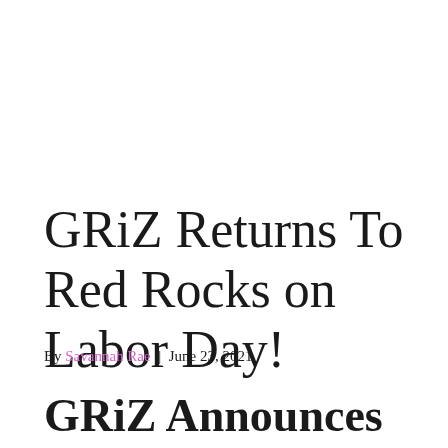GRiZ Returns To Red Rocks on Labor Day!
By Savannah Rae | June 23, 2021
GRiZ Announces Return to Red Rocks...